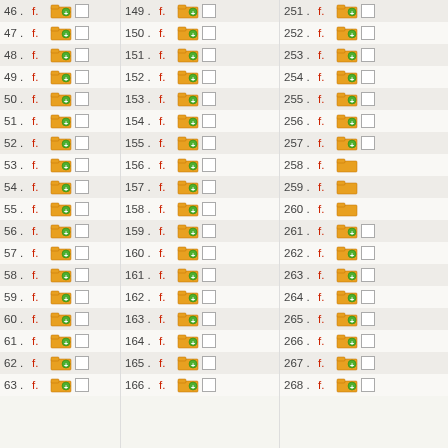46. f. [folder icon] [checkbox]
47. f. [folder icon] [checkbox]
48. f. [folder icon] [checkbox]
49. f. [folder icon] [checkbox]
50. f. [folder icon] [checkbox]
51. f. [folder icon] [checkbox]
52. f. [folder icon] [checkbox]
53. f. [folder icon] [checkbox]
54. f. [folder icon] [checkbox]
55. f. [folder icon] [checkbox]
56. f. [folder icon] [checkbox]
57. f. [folder icon] [checkbox]
58. f. [folder icon] [checkbox]
59. f. [folder icon] [checkbox]
60. f. [folder icon] [checkbox]
61. f. [folder icon] [checkbox]
62. f. [folder icon] [checkbox]
63. f. [folder icon] [checkbox]
149. f. [folder icon] [checkbox]
150. f. [folder icon] [checkbox]
151. f. [folder icon] [checkbox]
152. f. [folder icon] [checkbox]
153. f. [folder icon] [checkbox]
154. f. [folder icon] [checkbox]
155. f. [folder icon] [checkbox]
156. f. [folder icon] [checkbox]
157. f. [folder icon] [checkbox]
158. f. [folder icon] [checkbox]
159. f. [folder icon] [checkbox]
160. f. [folder icon] [checkbox]
161. f. [folder icon] [checkbox]
162. f. [folder icon] [checkbox]
163. f. [folder icon] [checkbox]
164. f. [folder icon] [checkbox]
165. f. [folder icon] [checkbox]
166. f. [folder icon] [checkbox]
251. f. [folder icon] [checkbox]
252. f. [folder icon] [checkbox]
253. f. [folder icon] [checkbox]
254. f. [folder icon] [checkbox]
255. f. [folder icon] [checkbox]
256. f. [folder icon] [checkbox]
257. f. [folder icon] [checkbox]
258. f. [folder icon] [checkbox]
259. f. [folder icon] [checkbox]
260. f. [folder icon] [checkbox]
261. f. [folder icon] [checkbox]
262. f. [folder icon] [checkbox]
263. f. [folder icon] [checkbox]
264. f. [folder icon] [checkbox]
265. f. [folder icon] [checkbox]
266. f. [folder icon] [checkbox]
267. f. [folder icon] [checkbox]
268. f. [folder icon] [checkbox]
Comm... Co... R...